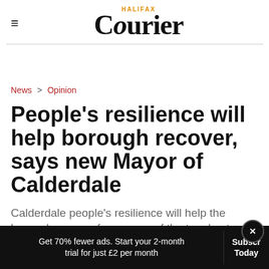HALIFAX Courier
News > Opinion
People's resilience will help borough recover, says new Mayor of Calderdale
Calderdale people's resilience will help the borough recover from some of the toughest...
Get 70% fewer ads. Start your 2-month trial for just £2 per month  Subscribe Today